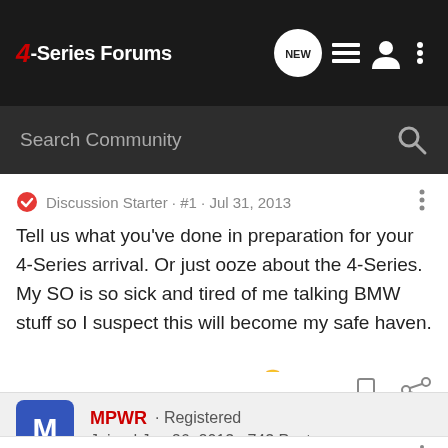4-Series Forums
Search Community
Discussion Starter · #1 · Jul 31, 2013
Tell us what you've done in preparation for your 4-Series arrival. Or just ooze about the 4-Series. My SO is so sick and tired of me talking BMW stuff so I suspect this will become my safe haven.

Cannot wait for my new car...😀
MPWR · Registered
Joined Jun 26, 2013 · 743 Posts
#2 · Jul 31, 2013